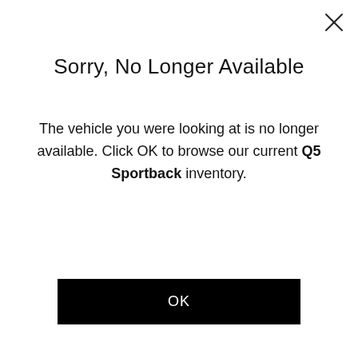Sorry, No Longer Available
The vehicle you were looking at is no longer available. Click OK to browse our current Q5 Sportback inventory.
OK